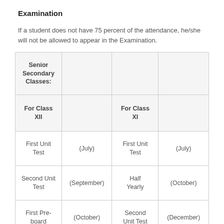Examination
If a student does not have 75 percent of the attendance, he/she will not be allowed to appear in the Examination.
| Senior Secondary Classes: |  |  |  |
| --- | --- | --- | --- |
| For Class XII |  | For Class XI |  |
| First Unit Test | (July) | First Unit Test | (July) |
| Second Unit Test | (September) | Half Yearly | (October) |
| First Pre-board | (October) | Second Unit Test | (December) |
| Second Pre- | (November) | Annual | (Feb/March) |